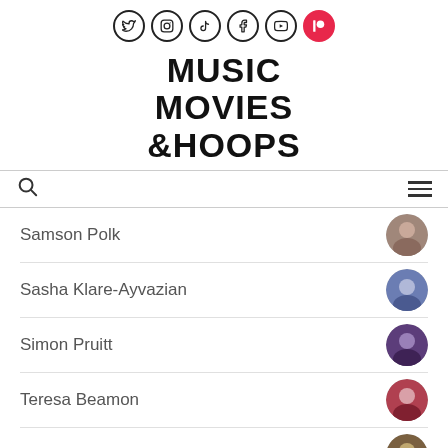Social icons: Twitter, Instagram, TikTok, Facebook, YouTube, Patreon
MUSIC MOVIES &HOOPS
Search and hamburger menu navigation bar
Samson Polk
Sasha Klare-Ayvazian
Simon Pruitt
Teresa Beamon
Thulani Paz Davis
Troy Eisenberger
Zoe Z. Novendstern